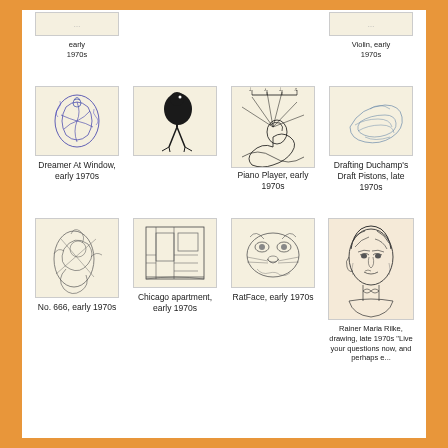[Figure (illustration): Partial artwork visible at top left, early 1970s]
early 1970s
[Figure (illustration): Partial artwork visible at top right, Violin, early 1970s]
Violin, early 1970s
[Figure (illustration): Dreamer At Window drawing, blue ink, early 1970s]
Dreamer At Window, early 1970s
[Figure (illustration): Bird/ostrich ink drawing, early 1970s]
[Figure (illustration): Piano Player drawing with musical notes, early 1970s]
Piano Player, early 1970s
[Figure (illustration): Drafting Duchamp's Draft Pistons sketch, late 1970s]
Drafting Duchamp's Draft Pistons, late 1970s
[Figure (illustration): No. 666 abstract drawing, early 1970s]
No. 666, early 1970s
[Figure (illustration): Chicago apartment interior drawing, early 1970s]
Chicago apartment, early 1970s
[Figure (illustration): RatFace drawing, early 1970s]
RatFace, early 1970s
[Figure (illustration): Rainer Maria Rilke portrait drawing, late 1970s]
Rainer Maria Rilke, drawing, late 1970s "Live your questions now, and perhaps e...